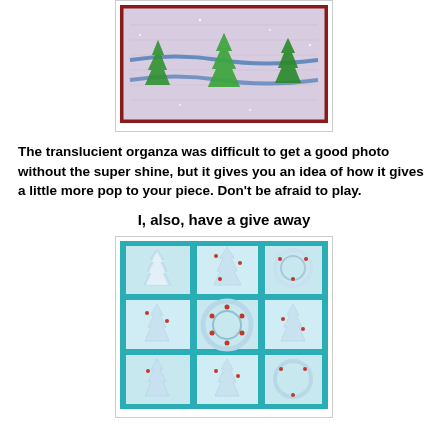[Figure (photo): Photo of a quilt or fabric piece with green Christmas trees and blue ribbons on a shimmery organza background with a red border, shown inside a white-bordered frame.]
The translucient organza was difficult to get a good photo without the super shine, but it gives you an idea of how it gives a little more pop to your piece.  Don't be afraid to play.
I, also, have a give away
[Figure (photo): Photo of a teal/turquoise quilt panel featuring Christmas trees and cardinals/birds in a grid layout with teal sashing, shown hanging or displayed.]